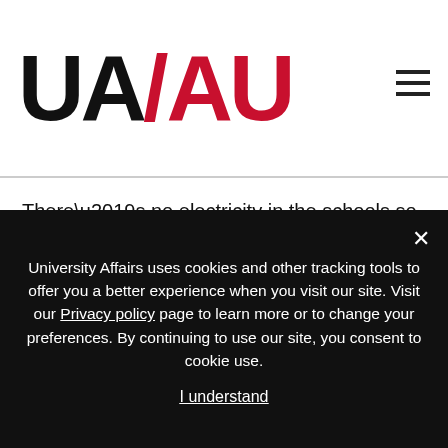[Figure (logo): UA/AU University Affairs logo in black and red]
There’s no electricity in the schools so we won’t have the Internet to look things up, or whiteboards. It’s paper, pencils and chalk. I think it will be a good experience for us.”
UPEI provided each student with $250 towards the practicum, and the students raised the rest of the money as a group starting last November. Ms. Rafuse and her colleagues hope to gain not only
University Affairs uses cookies and other tracking tools to offer you a better experience when you visit our site. Visit our Privacy policy page to learn more or to change your preferences. By continuing to use our site, you consent to cookie use.
I understand